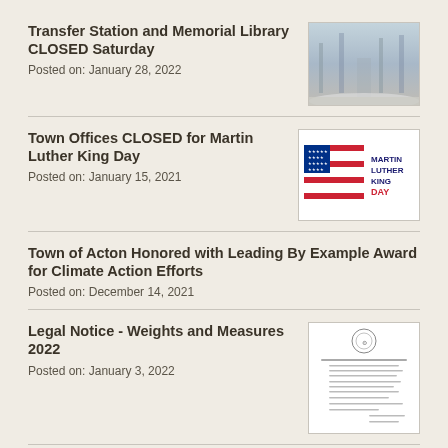Transfer Station and Memorial Library CLOSED Saturday
Posted on: January 28, 2022
[Figure (photo): Winter snowy road through trees]
Town Offices CLOSED for Martin Luther King Day
Posted on: January 15, 2021
[Figure (illustration): Martin Luther King Day - American flag graphic with text MARTIN LUTHER KING DAY]
Town of Acton Honored with Leading By Example Award for Climate Action Efforts
Posted on: December 14, 2021
Legal Notice - Weights and Measures 2022
Posted on: January 3, 2022
[Figure (screenshot): Legal notice document thumbnail with text lines]
Town Offices CLOSED for New Year's
Posted on: December 28, 2021
Town Offices CLOSED for Christmas